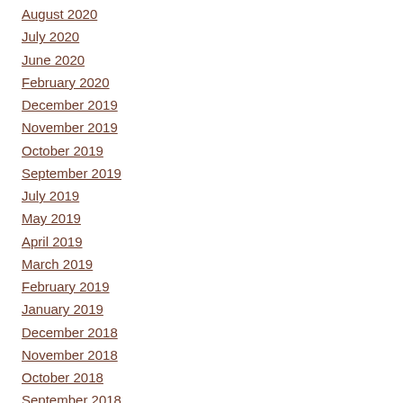August 2020
July 2020
June 2020
February 2020
December 2019
November 2019
October 2019
September 2019
July 2019
May 2019
April 2019
March 2019
February 2019
January 2019
December 2018
November 2018
October 2018
September 2018
August 2018